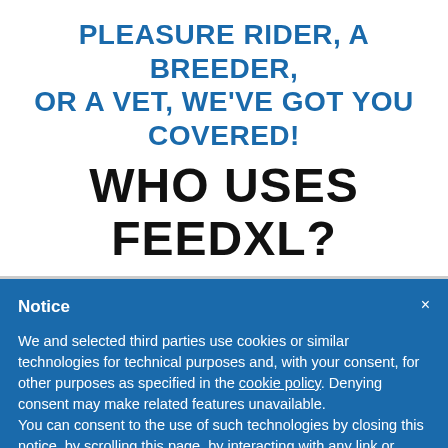PLEASURE RIDER, A BREEDER, OR A VET, WE'VE GOT YOU COVERED!
WHO USES FEEDXL?
Notice
We and selected third parties use cookies or similar technologies for technical purposes and, with your consent, for other purposes as specified in the cookie policy. Denying consent may make related features unavailable. You can consent to the use of such technologies by closing this notice, by scrolling this page, by interacting with any link or button outside of this notice or by continuing to browse otherwise.